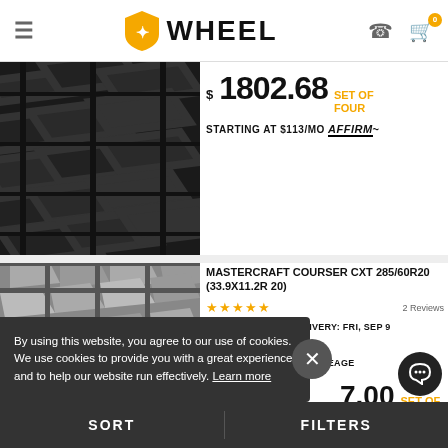WHEEL
[Figure (photo): Close-up of tire tread pattern, dark gray, first product]
$1802.68 SET OF FOUR
STARTING AT $113/MO affirm
[Figure (photo): Close-up of tire tread pattern, light gray, second product (Mastercraft)]
MASTERCRAFT COURSER CXT 285/60R20 (33.9X11.2R 20)
★★★★★  2 Reviews
FREE QUICK DELIVERY: FRI, SEP 9
ALL TERRAIN
MANUFACTURER MILEAGE WARRANTY
7.00 SET OF FOUR
STARTING AT $113/MO affirm
By using this website, you agree to our use of cookies. We use cookies to provide you with a great experience and to help our website run effectively. Learn more
SORT   FILTERS